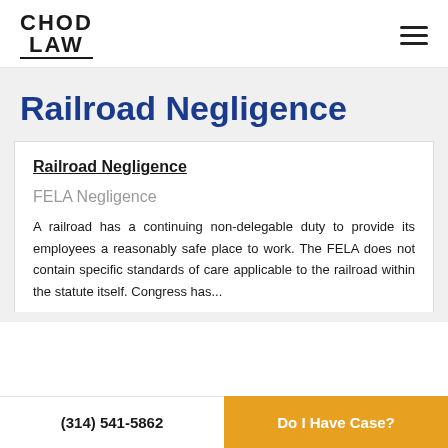CHOD LAW
Railroad Negligence
Railroad Negligence
FELA Negligence
A railroad has a continuing non-delegable duty to provide its employees a reasonably safe place to work. The FELA does not contain specific standards of care applicable to the railroad within the statute itself. Congress has...
(314) 541-5862   Do I Have Case?